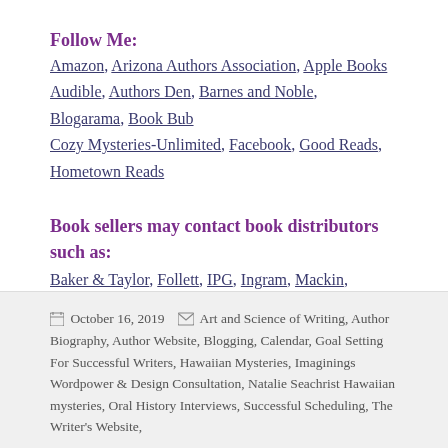Follow Me:
Amazon, Arizona Authors Association, Apple Books Audible, Authors Den, Barnes and Noble, Blogarama, Book Bub Cozy Mysteries-Unlimited, Facebook, Good Reads, Hometown Reads
Book sellers may contact book distributors such as:
Baker & Taylor, Follett, IPG, Ingram, Mackin, Midpoint, TitleWave
October 16, 2019   Art and Science of Writing, Author Biography, Author Website, Blogging, Calendar, Goal Setting For Successful Writers, Hawaiian Mysteries, Imaginings Wordpower & Design Consultation, Natalie Seachrist Hawaiian mysteries, Oral History Interviews, Successful Scheduling, The Writer's Website,